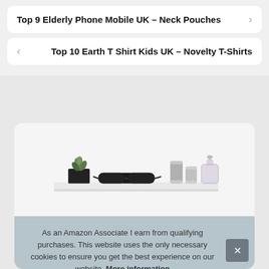Top 9 Elderly Phone Mobile UK – Neck Pouches
Top 10 Earth T Shirt Kids UK – Novelty T-Shirts
[Figure (photo): A white shelf with a small succulent plant in a black pot, sunglasses, two metallic cylindrical containers, and a glass perfume bottle arranged on it.]
As an Amazon Associate I earn from qualifying purchases. This website uses the only necessary cookies to ensure you get the best experience on our website. More information